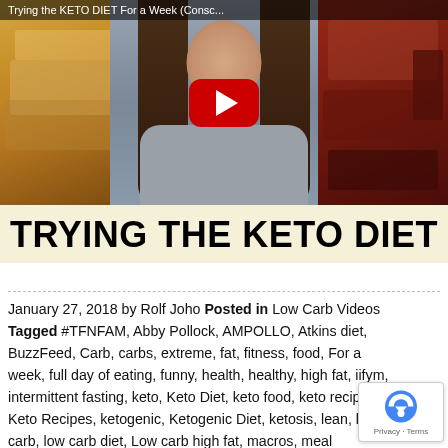[Figure (screenshot): YouTube video thumbnail showing a woman in the center with long brown hair, food items (grilled cheese on left, bacon/meat on right), with a red YouTube play button overlay and title bar reading 'Trying the KETO DIET For a Week (Consc...']
TRYING THE KETO DIET
January 27, 2018 by Rolf Joho Posted in Low Carb Videos Tagged #TFNFAM, Abby Pollock, AMPOLLO, Atkins diet, BuzzFeed, Carb, carbs, extreme, fat, fitness, food, For a week, full day of eating, funny, health, healthy, high fat, iifym, intermittent fasting, keto, Keto Diet, keto food, keto recipe, Keto Recipes, ketogenic, Ketogenic Diet, ketosis, lean, low carb, low carb diet, Low carb high fat, macros, meal nutrition, Paleo, people try, protein, reacting, tasting, Transformation, trends, try, weight, weight loss, whitney